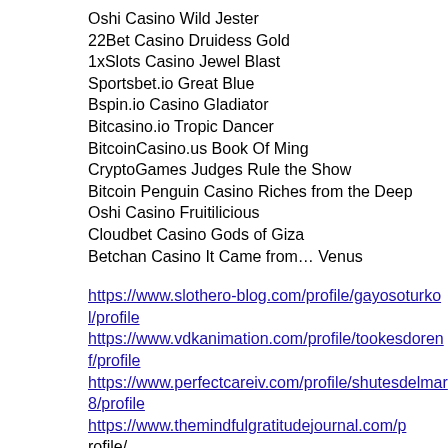Oshi Casino Wild Jester
22Bet Casino Druidess Gold
1xSlots Casino Jewel Blast
Sportsbet.io Great Blue
Bspin.io Casino Gladiator
Bitcasino.io Tropic Dancer
BitcoinCasino.us Book Of Ming
CryptoGames Judges Rule the Show
Bitcoin Penguin Casino Riches from the Deep
Oshi Casino Fruitilicious
Cloudbet Casino Gods of Giza
Betchan Casino It Came from… Venus
https://www.slothero-blog.com/profile/gayosoturkol/profile https://www.vdkanimation.com/profile/tookesdorenf/profile https://www.perfectcareiv.com/profile/shutesdelmar8/profile https://www.themindfulgratitudejournal.com/profile/...